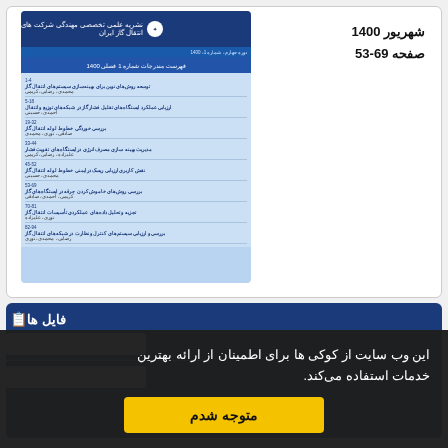شهریور 1400
صفحه 53-69
[Figure (screenshot): Screenshot of a Persian academic journal table of contents with blue header and light blue background listing article titles and page numbers]
فایل ها
[Figure (screenshot): Files download section with dark blue background showing file items]
این وب سایت از کوکی ها برای اطمینان از ارائه بهترین خدمات استفاده می‌کند.
متوجه شدم